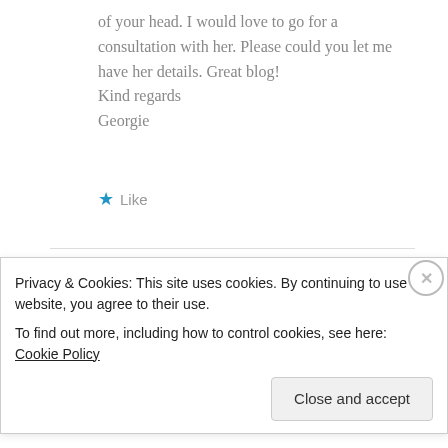of your head. I would love to go for a consultation with her. Please could you let me have her details. Great blog!
Kind regards
Georgie
★ Like
SPLITTINGHAIRS
October 19, 2017 at 11:54 am · Author · Reply
Privacy & Cookies: This site uses cookies. By continuing to use this website, you agree to their use.
To find out more, including how to control cookies, see here: Cookie Policy
Close and accept